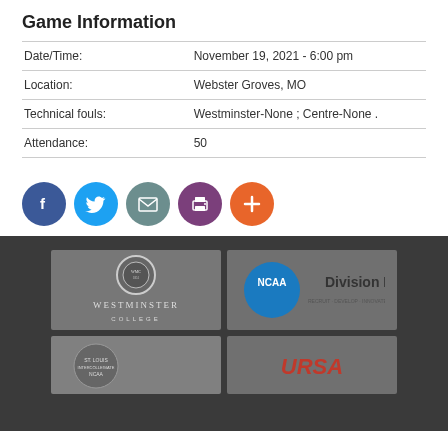Game Information
| Field | Value |
| --- | --- |
| Date/Time: | November 19, 2021 - 6:00 pm |
| Location: | Webster Groves, MO |
| Technical fouls: | Westminster-None ; Centre-None . |
| Attendance: | 50 |
[Figure (infographic): Social media sharing buttons: Facebook (blue), Twitter (light blue), Email (grey-green), Print (purple), Add (orange)]
[Figure (logo): Westminster College logo on grey background]
[Figure (logo): NCAA Division III logo on grey background]
[Figure (logo): St. Louis Intercollegiate Athletic Conference logo on grey background]
[Figure (logo): Unknown logo on grey background]